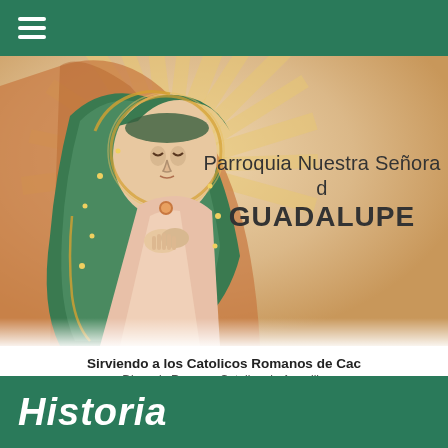≡ (hamburger menu)
[Figure (illustration): Illustration of Our Lady of Guadalupe — the Virgin Mary wearing a green mantle with gold trim, hands clasped in prayer, surrounded by radiating golden rays and a brown/orange sunburst halo against a light background.]
Parroquia Nuestra Señora de GUADALUPE
Sirviendo a los Catolicos Romanos de Cac
Diocesis Romana Catolica de Amarillo
Historia